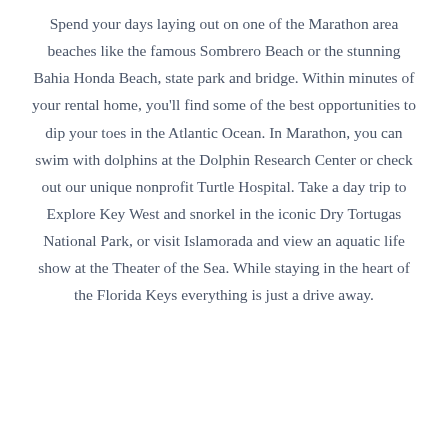Spend your days laying out on one of the Marathon area beaches like the famous Sombrero Beach or the stunning Bahia Honda Beach, state park and bridge. Within minutes of your rental home, you'll find some of the best opportunities to dip your toes in the Atlantic Ocean. In Marathon, you can swim with dolphins at the Dolphin Research Center or check out our unique nonprofit Turtle Hospital. Take a day trip to Explore Key West and snorkel in the iconic Dry Tortugas National Park, or visit Islamorada and view an aquatic life show at the Theater of the Sea. While staying in the heart of the Florida Keys everything is just a drive away.